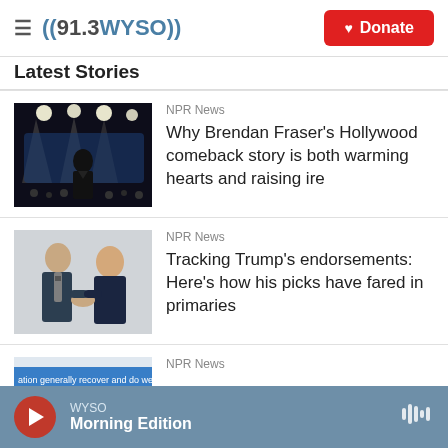((91.3 WYSO)) Donate
Latest Stories
[Figure (photo): Man in black suit on stage with stage lights behind him]
NPR News
Why Brendan Fraser's Hollywood comeback story is both warming hearts and raising ire
[Figure (photo): Two men in suits shaking hands]
NPR News
Tracking Trump's endorsements: Here's how his picks have fared in primaries
[Figure (screenshot): Partial image with text overlay: 'ation generally recover and do well']
NPR News
WYSO Morning Edition